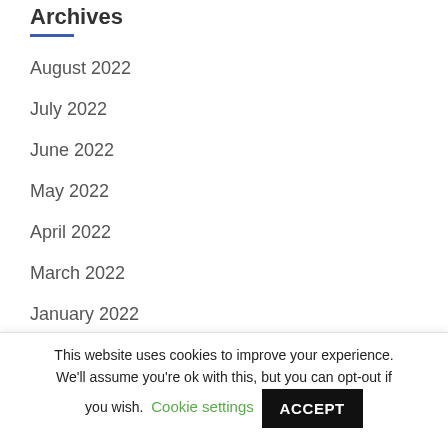Archives
August 2022
July 2022
June 2022
May 2022
April 2022
March 2022
January 2022
December 2021
This website uses cookies to improve your experience. We'll assume you're ok with this, but you can opt-out if you wish. Cookie settings ACCEPT